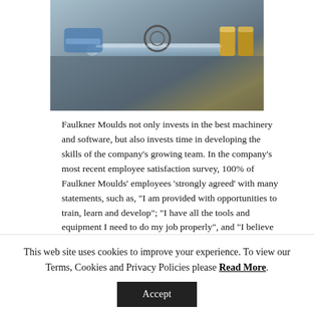[Figure (photo): Close-up photo of precision engineering machinery or mould tooling, showing metal components, a transparent cylindrical part, and gold-coloured fittings on a grey surface.]
Faulkner Moulds not only invests in the best machinery and software, but also invests time in developing the skills of the company’s growing team. In the company’s most recent employee satisfaction survey, 100% of Faulkner Moulds’ employees ‘strongly agreed’ with many statements, such as, “I am provided with opportunities to train, learn and develop”; “I have all the tools and equipment I need to do my job properly”, and “I believe the team and
This web site uses cookies to improve your experience. To view our Terms, Cookies and Privacy Policies please Read More.
Accept